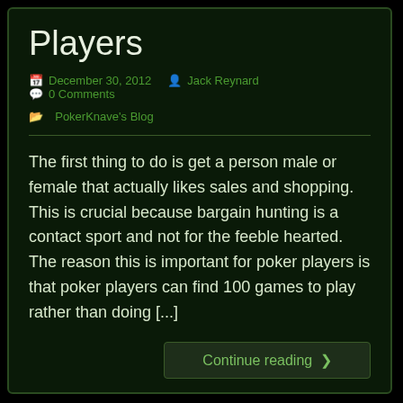Players
December 30, 2012   Jack Reynard   0 Comments   PokerKnave's Blog
The first thing to do is get a person male or female that actually likes sales and shopping. This is crucial because bargain hunting is a contact sport and not for the feeble hearted. The reason this is important for poker players is that poker players can find 100 games to play rather than doing [...]
Continue reading >
'Here Comes Honey Boo Boo', 'The Only Way Is Essex', bankers, barack Obama, bargain hunting, bets, Christmas Holiday Sales, pay day loan, poker, poker players, shopping, The magical tipster